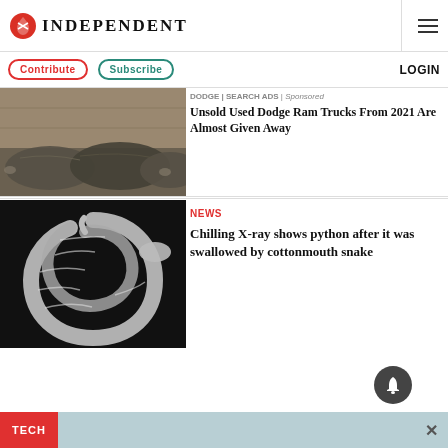INDEPENDENT
Contribute | Subscribe | LOGIN
[Figure (photo): Covered trucks parked in a warehouse or storage facility]
DODGE | SEARCH ADS | Sponsored
Unsold Used Dodge Ram Trucks From 2021 Are Almost Given Away
[Figure (photo): Black and white X-ray image of a python snake coiled up]
NEWS
Chilling X-ray shows python after it was swallowed by cottonmouth snake
TECH